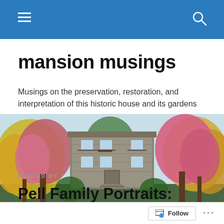mansion musings — navigation bar
mansion musings
Musings on the preservation, restoration, and interpretation of this historic house and its gardens
[Figure (photo): Exterior photo of a historic stone mansion surrounded by flowering trees in spring — pink and yellow blossoms frame the two-story structure]
POSTED BY
Pell Family Portraits: Amelia Grace Pell Garland W…
Follow